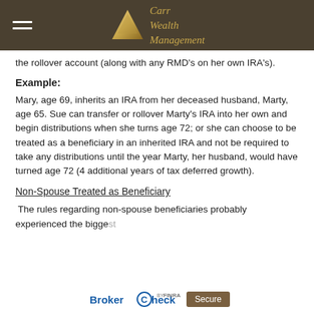Carr Wealth Management
the rollover account (along with any RMD's on her own IRA's).
Example:
Mary, age 69, inherits an IRA from her deceased husband, Marty, age 65. Sue can transfer or rollover Marty's IRA into her own and begin distributions when she turns age 72; or she can choose to be treated as a beneficiary in an inherited IRA and not be required to take any distributions until the year Marty, her husband, would have turned age 72 (4 additional years of tax deferred growth).
Non-Spouse Treated as Beneficiary
The rules regarding non-spouse beneficiaries probably experienced the biggest...